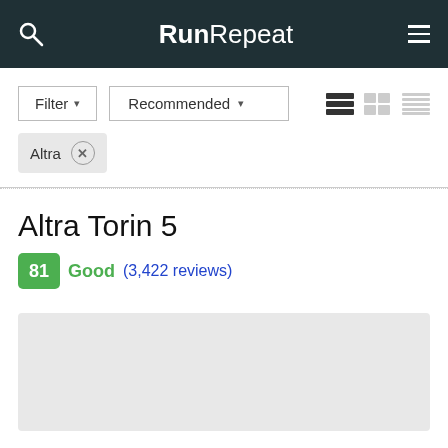RunRepeat
Filter Recommended
Altra ×
Altra Torin 5
81 Good (3,422 reviews)
[Figure (photo): Gray placeholder image for Altra Torin 5 product photo]